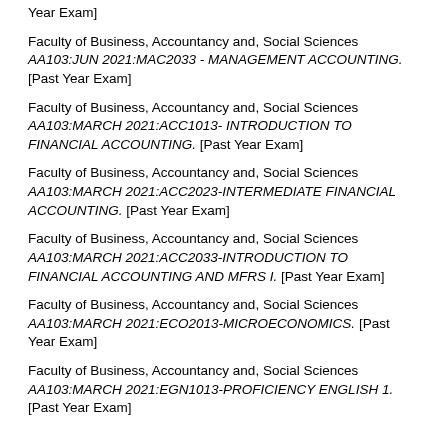Year Exam]
Faculty of Business, Accountancy and, Social Sciences AA103:JUN 2021:MAC2033 - MANAGEMENT ACCOUNTING. [Past Year Exam]
Faculty of Business, Accountancy and, Social Sciences AA103:MARCH 2021:ACC1013- INTRODUCTION TO FINANCIAL ACCOUNTING. [Past Year Exam]
Faculty of Business, Accountancy and, Social Sciences AA103:MARCH 2021:ACC2023-INTERMEDIATE FINANCIAL ACCOUNTING. [Past Year Exam]
Faculty of Business, Accountancy and, Social Sciences AA103:MARCH 2021:ACC2033-INTRODUCTION TO FINANCIAL ACCOUNTING AND MFRS I. [Past Year Exam]
Faculty of Business, Accountancy and, Social Sciences AA103:MARCH 2021:ECO2013-MICROECONOMICS. [Past Year Exam]
Faculty of Business, Accountancy and, Social Sciences AA103:MARCH 2021:EGN1013-PROFICIENCY ENGLISH 1. [Past Year Exam]